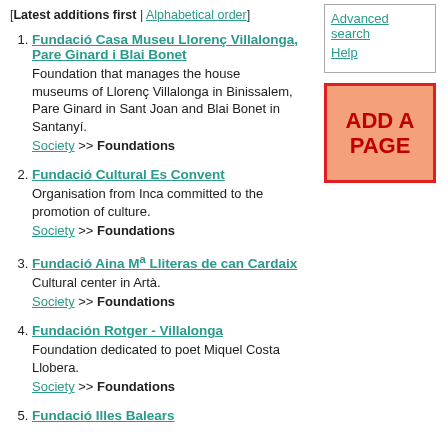[Latest additions first | Alphabetical order]
1. Fundació Casa Museu Llorenç Villalonga, Pare Ginard i Blai Bonet — Foundation that manages the house museums of Llorenç Villalonga in Binissalem, Pare Ginard in Sant Joan and Blai Bonet in Santanyí. Society >> Foundations
2. Fundació Cultural Es Convent — Organisation from Inca committed to the promotion of culture. Society >> Foundations
3. Fundació Aina Mª Lliteras de can Cardaix — Cultural center in Artà. Society >> Foundations
4. Fundación Rotger - Villalonga — Foundation dedicated to poet Miquel Costa Llobera. Society >> Foundations
5. Fundació Illes Balears
Advanced search
Help
[Figure (other): ADD A PAGE button — orange/salmon background with red border, bold red text]